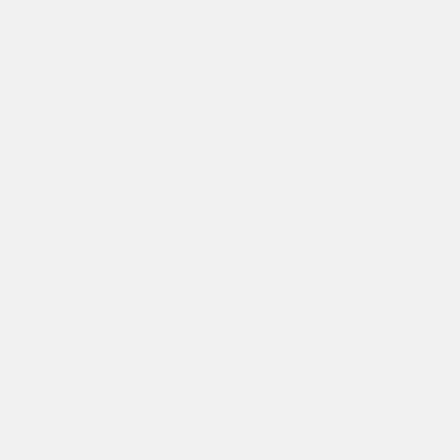* 1908, братья Wrig... №821393
* 1911, 22 (9) ... сконструированным ... передачу
* 1990, релиз Window...
из сети:
* Pope Calls for End to...
* Don Belt, National G...
* LTTE chief Prabhak... the Security Forces
Ленты блога: л.а., 200...
(fa)
21 МАЯ 2009